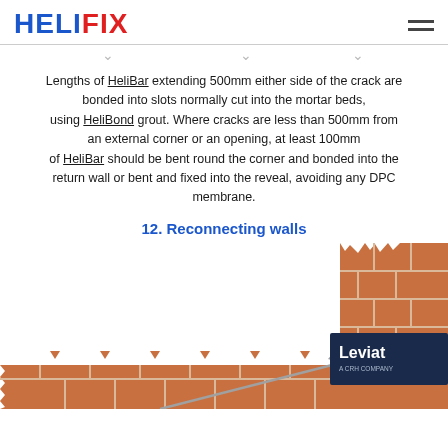HELIFIX
Lengths of HeliBar extending 500mm either side of the crack are bonded into slots normally cut into the mortar beds, using HeliBond grout. Where cracks are less than 500mm from an external corner or an opening, at least 100mm of HeliBar should be bent round the corner and bonded into the return wall or bent and fixed into the reveal, avoiding any DPC membrane.
12. Reconnecting walls
[Figure (illustration): Engineering illustration showing a brick wall corner junction with a helibar reinforcement rod being inserted diagonally through the mortar beds at the corner. Brickwork shown in terracotta/brown color with light mortar joints. Leviat (a CRH company) logo visible in a dark navy panel in the bottom right area. Top of corner wall shows irregular/broken brick edges.]